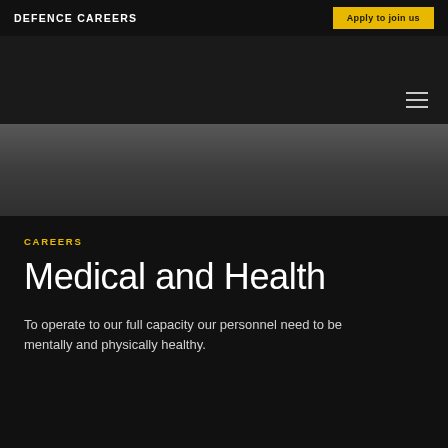DEFENCE CAREERS
Apply to join us
[Figure (photo): Dark header band with hamburger menu icon on the right side, followed by a partially visible photo of military/defence personnel in a dimly lit environment]
CAREERS
Medical and Health
To operate to our full capacity our personnel need to be mentally and physically healthy.